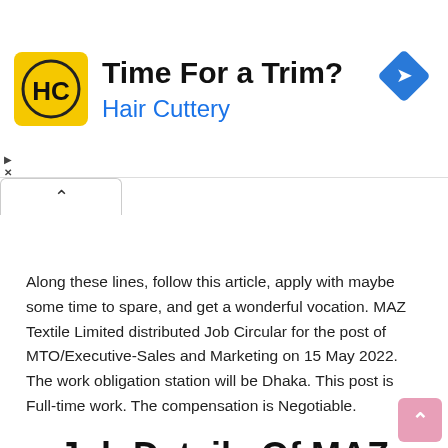[Figure (infographic): Hair Cuttery advertisement banner with yellow logo showing 'HC', headline 'Time For a Trim?', subtext 'Hair Cuttery', and a blue navigation diamond icon on the right.]
Along these lines, follow this article, apply with maybe some time to spare, and get a wonderful vocation. MAZ Textile Limited distributed Job Circular for the post of MTO/Executive-Sales and Marketing on 15 May 2022. The work obligation station will be Dhaka. This post is Full-time work. The compensation is Negotiable.
Job Details Of MAZ Textile Limited
| Post Name | Sales & Marketing |
| --- | --- |
| Salary | Negotiable |